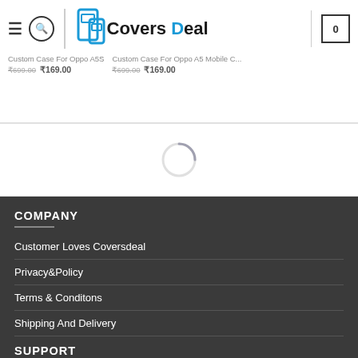Covers Deal - navigation header with logo, search, and cart
Custom Case For Oppo A5S - ₹169.00 | Custom Case For Oppo A5S - ₹169.00
[Figure (other): Loading spinner (circular arc)]
COMPANY
Customer Loves Coversdeal
Privacy&Policy
Terms & Conditons
Shipping And Delivery
SUPPORT